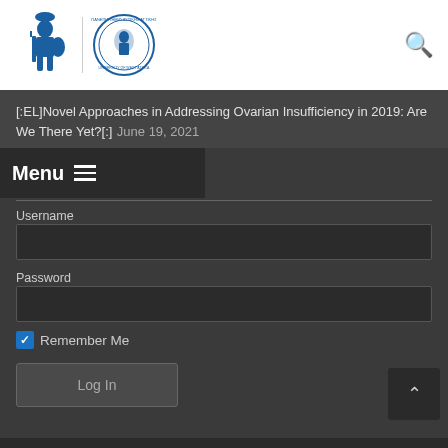[Figure (logo): Athena warrior figure logo and University round seal logo side by side with search icon]
[:EL]Novel Approaches in Addressing Ovarian Insufficiency in 2019: Are We There Yet?[:] June 19, 2021
Login
Menu
Username
Password
Remember Me
Log In